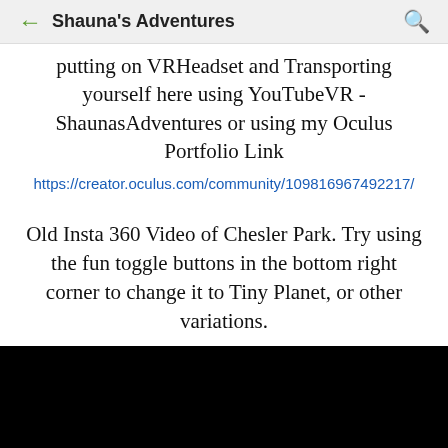Shauna's Adventures
putting on VRHeadset and Transporting yourself here using YouTubeVR - ShaunasAdventures or using my Oculus Portfolio Link
https://creator.oculus.com/community/109816967492217/
Old Insta 360 Video of Chesler Park.  Try using the fun toggle buttons in the bottom right corner to change it to Tiny Planet, or other variations.
[Figure (other): Black video thumbnail/embed area]